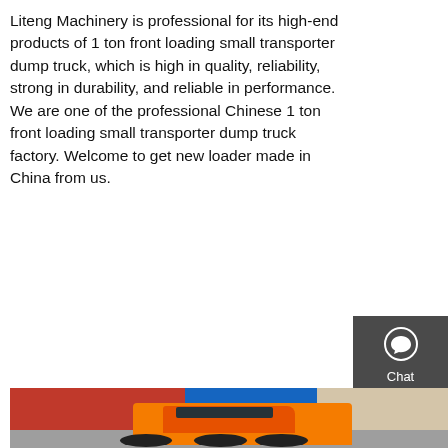Liteng Machinery is professional for its high-end products of 1 ton front loading small transporter dump truck, which is high in quality, reliability, strong in durability, and reliable in performance. We are one of the professional Chinese 1 ton front loading small transporter dump truck factory. Welcome to get new loader made in China from us.
GET A QUOTE
[Figure (other): Sidebar panel with Chat, Email, and Contact icons on dark grey background]
[Figure (photo): Photo of an orange heavy-duty truck (HOWO) parked in front of a XCMG dealership with red and blue signage]